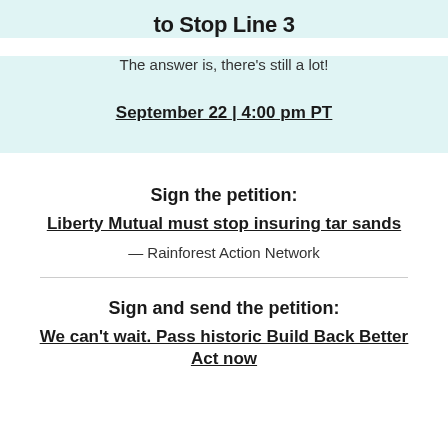to Stop Line 3
The answer is, there's still a lot!
September 22 | 4:00 pm PT
Sign the petition:
Liberty Mutual must stop insuring tar sands
— Rainforest Action Network
Sign and send the petition:
We can't wait. Pass historic Build Back Better Act now